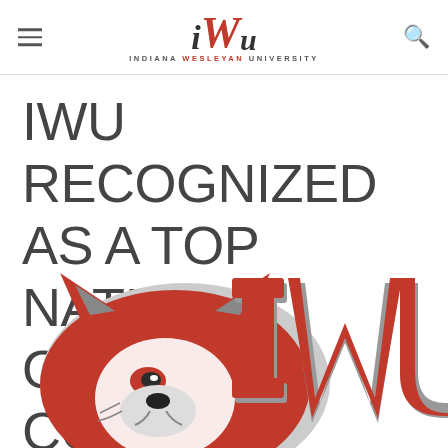IWU — Indiana Wesleyan University
IWU RECOGNIZED AS A TOP NATIONAL ONLINE COLLEGE
[Figure (logo): Indiana Wesleyan University mascot logo featuring a red and grey wildcat/wolf head with IWU letters in red and grey]